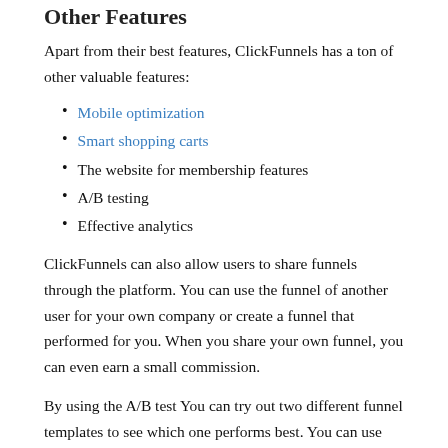Other Features
Apart from their best features, ClickFunnels has a ton of other valuable features:
Mobile optimization
Smart shopping carts
The website for membership features
A/B testing
Effective analytics
ClickFunnels can also allow users to share funnels through the platform. You can use the funnel of another user for your own company or create a funnel that performed for you. When you share your own funnel, you can even earn a small commission.
By using the A/B test You can try out two different funnel templates to see which one performs best. You can use this feature not only to test templates, but also compare your landing pages, ads, media pages,